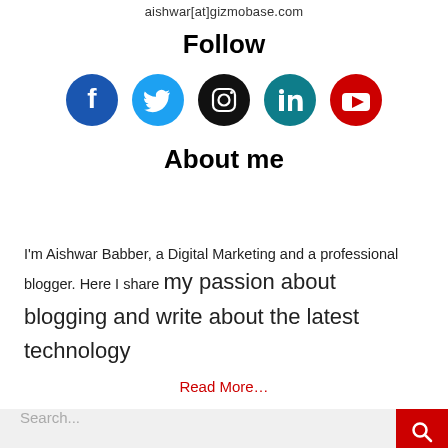aishwar[at]gizmobase.com
Follow
[Figure (illustration): Five social media icon circles: Facebook (dark blue), Twitter (light blue), Instagram (black), LinkedIn (teal), YouTube (red)]
About me
I'm Aishwar Babber, a Digital Marketing and a professional blogger. Here I share my passion about blogging and write about the latest technology
Read More…
Search...
Our Site